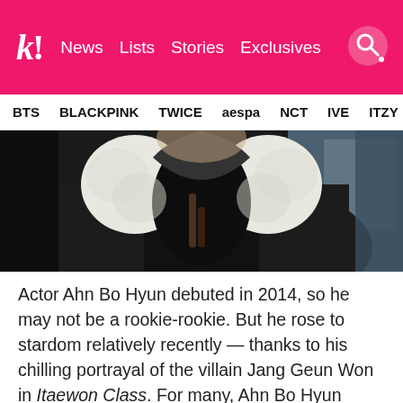k! News  Lists  Stories  Exclusives
BTS  BLACKPINK  TWICE  aespa  NCT  IVE  ITZY
[Figure (photo): Close-up photo of a person wearing a black leather jacket with white sherpa/fleece lining collar, face not fully visible.]
Actor Ahn Bo Hyun debuted in 2014, so he may not be a rookie-rookie. But he rose to stardom relatively recently — thanks to his chilling portrayal of the villain Jang Geun Won in Itaewon Class. For many, Ahn Bo Hyun became the definition of that peculiar "psychotic sexy", meaning the viewers have found his character to be despicable since the very first